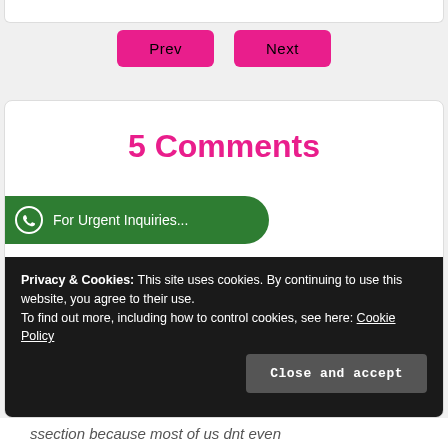[Figure (screenshot): Navigation buttons: Prev and Next, styled with pink/magenta background]
5 Comments
[Figure (other): Green WhatsApp-style button: For Urgent Inquiries...]
[Figure (other): Decorative avatar/QR-code style pixel image in pink]
pamela
AUGUST 6, 2016 AT 6:48 AM
Privacy & Cookies: This site uses cookies. By continuing to use this website, you agree to their use.
To find out more, including how to control cookies, see here: Cookie Policy
Close and accept
ssection because most of us dnt even